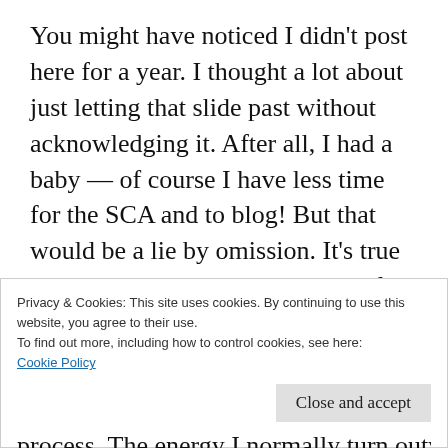You might have noticed I didn't post here for a year. I thought a lot about just letting that slide past without acknowledging it. After all, I had a baby — of course I have less time for the SCA and to blog! But that would be a lie by omission. It's true that having a child has totally shifted my world and that I've been so busy that I hardly have time for anything, but that's not the whole truth. And I think I want to talk about some of the rest of that truth.
Privacy & Cookies: This site uses cookies. By continuing to use this website, you agree to their use.
To find out more, including how to control cookies, see here: Cookie Policy
[Close and accept button]
process. The energy I normally turn outward